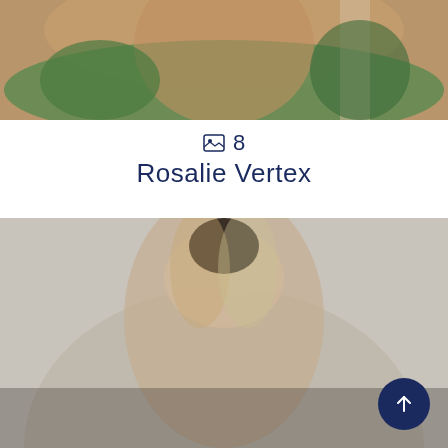[Figure (photo): Cropped photo of a person in a pink/nude bodysuit with green foliage and palm tree in background]
🖼 8
Rosalie Vertex
[Figure (photo): Portrait photo of a young woman with long blonde-highlighted hair, wearing a sparkly nude outfit, against a light grey background]
[Figure (other): Dark blue circular scroll-to-top button with upward arrow in bottom right corner]